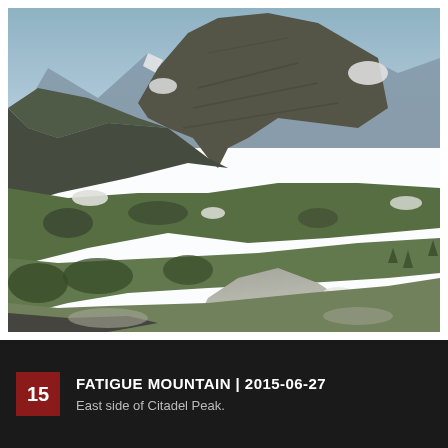[Figure (photo): Aerial or elevated photograph of Fatigue Mountain showing the east side of Citadel Peak. Rocky mountain terrain with dark layered cliffs, patches of snow, green alpine meadows, coniferous forest, and rocky scree slopes in the foreground. Blue-grey sky and distant snow-capped peaks visible in the background.]
15 FATIGUE MOUNTAIN | 2015-06-27 East side of Citadel Peak.